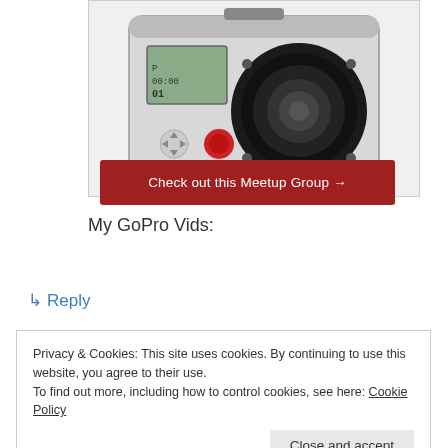[Figure (photo): GoPro HERO2 camera in a waterproof housing, showing lens and small LCD screen, with a red button on the front]
Check out this Meetup Group →
My GoPro Vids:
http://vimeo.com/album/1555074
↳ Reply
Privacy & Cookies: This site uses cookies. By continuing to use this website, you agree to their use.
To find out more, including how to control cookies, see here: Cookie Policy